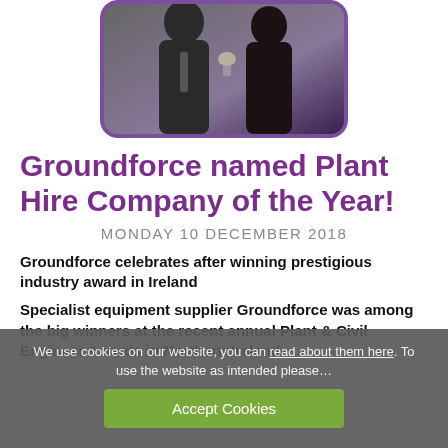[Figure (photo): Photo of two people in suits at an awards ceremony, partially cropped, with a purple rounded border]
Groundforce named Plant Hire Company of the Year!
MONDAY 10 DECEMBER 2018
Groundforce celebrates after winning prestigious industry award in Ireland
Specialist equipment supplier Groundforce was among the big winners at the recent annual Plant & Civil Engineer Awards in Northern Ireland
We use cookies on our website, you can read about them here. To use the website as intended please... Accept Cookies